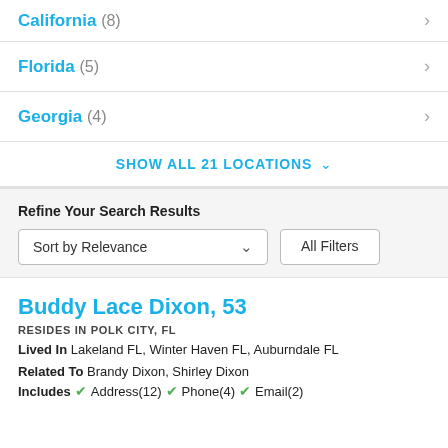California (8)
Florida (5)
Georgia (4)
SHOW ALL 21 LOCATIONS
Refine Your Search Results
Sort by Relevance | All Filters
Buddy Lace Dixon, 53
RESIDES IN POLK CITY, FL
Lived In Lakeland FL, Winter Haven FL, Auburndale FL
Related To Brandy Dixon, Shirley Dixon
Includes Address(12) Phone(4) Email(2)